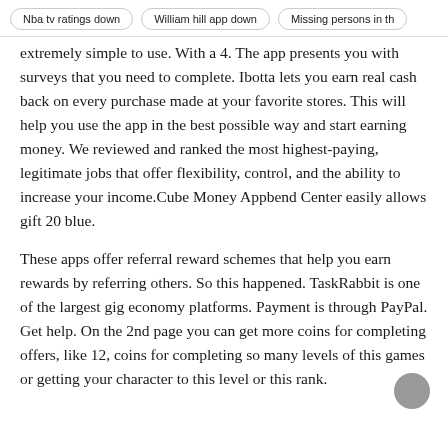Nba tv ratings down | William hill app down | Missing persons in th
extremely simple to use. With a 4. The app presents you with surveys that you need to complete. Ibotta lets you earn real cash back on every purchase made at your favorite stores. This will help you use the app in the best possible way and start earning money. We reviewed and ranked the most highest-paying, legitimate jobs that offer flexibility, control, and the ability to increase your income.Cube Money Appbend Center easily allows gift 20 blue.
These apps offer referral reward schemes that help you earn rewards by referring others. So this happened. TaskRabbit is one of the largest gig economy platforms. Payment is through PayPal. Get help. On the 2nd page you can get more coins for completing offers, like 12, coins for completing so many levels of this games or getting your character to this level or this rank.